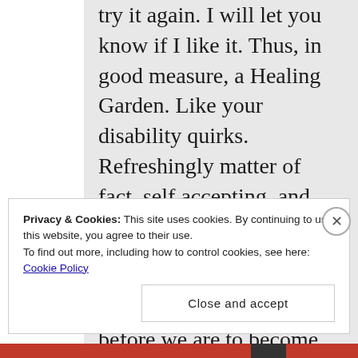try it again. I will let you know if I like it. Thus, in good measure, a Healing Garden. Like your disability quirks. Refreshingly matter of fact, self accepting, and honest.

Thank you. In the Healing Garden, there is no person before we are to become again. It is the person we are now who will heal and grow.
Privacy & Cookies: This site uses cookies. By continuing to use this website, you agree to their use.
To find out more, including how to control cookies, see here: Cookie Policy
Close and accept